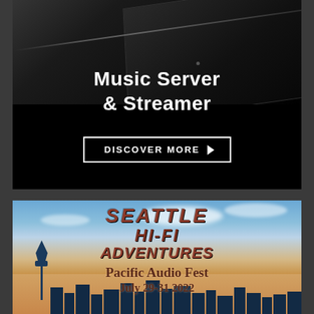[Figure (photo): Advertisement for a music server and streamer. Dark/black background with sleek dark electronic device panels visible at top. White text reads 'Music Server & Streamer'. White outlined button reads 'DISCOVER MORE' with arrow.]
[Figure (photo): Advertisement for Seattle Hi-Fi Adventures Pacific Audio Fest. Background shows Seattle skyline with Space Needle silhouette against a dramatic sunset sky. Text reads: SEATTLE HI-FI ADVENTURES Pacific Audio Fest July 29-31 2022]